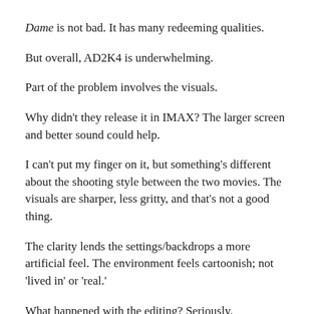Dame is not bad. It has many redeeming qualities.
But overall, AD2K4 is underwhelming.
Part of the problem involves the visuals.
Why didn't they release it in IMAX? The larger screen and better sound could help.
I can't put my finger on it, but something's different about the shooting style between the two movies. The visuals are sharper, less gritty, and that's not a good thing.
The clarity lends the settings/backdrops a more artificial feel. The environment feels cartoonish; not 'lived in' or 'real.'
What happened with the editing? Seriously.
Why weren't the filmmakers more generous to Jessica Alba?